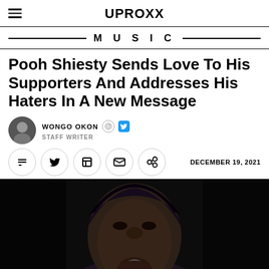UPROXX
MUSIC
Pooh Shiesty Sends Love To His Supporters And Addresses His Haters In A New Message
WONGO OKON — STAFF WRITER
DECEMBER 19, 2021
[Figure (photo): Close-up photo of a person (Pooh Shiesty) holding a microphone to their mouth, wearing a dark hoodie, against a black background.]